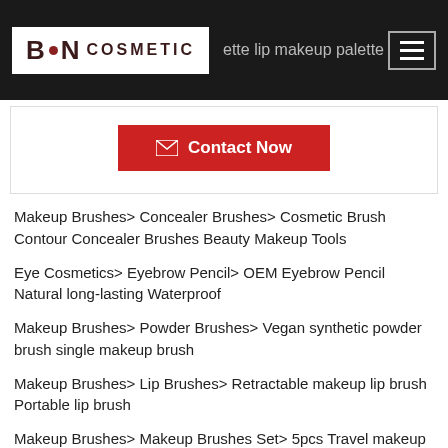B·N COSMETIC | ette lip makeup palette
[Figure (other): Contact Now button with envelope icon on red background]
Makeup Brushes> Concealer Brushes> Cosmetic Brush Contour Concealer Brushes Beauty Makeup Tools
Eye Cosmetics> Eyebrow Pencil> OEM Eyebrow Pencil Natural long-lasting Waterproof
Makeup Brushes> Powder Brushes> Vegan synthetic powder brush single makeup brush
Makeup Brushes> Lip Brushes> Retractable makeup lip brush Portable lip brush
Makeup Brushes> Makeup Brushes Set> 5pcs Travel makeup brushes set
Eye Cosmetics> Eyeliner Pencil> Eye Liner Pencil Long-Lasting Liquid Eyeliner
Eye Cosmetics> Eyeliner Pencil> Liquid Waterproof Black Long D... Eyeliner Pencil